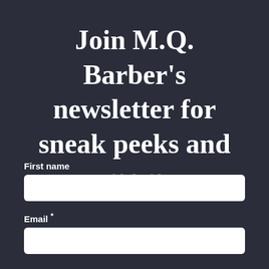Join M.Q. Barber's newsletter for sneak peeks and more
First name
Email *